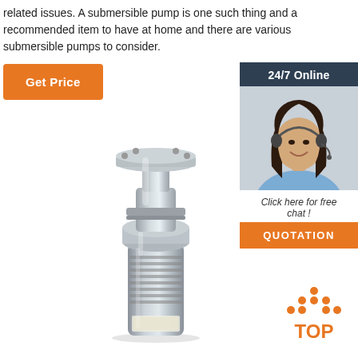related issues. A submersible pump is one such thing and a recommended item to have at home and there are various submersible pumps to consider.
[Figure (other): Orange 'Get Price' button]
[Figure (other): 24/7 Online customer service sidebar with photo of woman wearing headset, 'Click here for free chat!' text, and orange QUOTATION button]
[Figure (photo): Photo of a stainless steel submersible pump, cylindrical with flanged top]
[Figure (other): Orange and dark 'TOP' badge with dots forming an upward arrow/triangle shape]